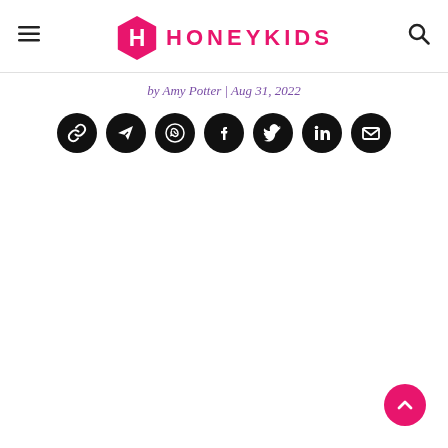HONEYKIDS
by Amy Potter | Aug 31, 2022
[Figure (other): Row of seven social share buttons: link, Telegram, WhatsApp, Facebook, Twitter, LinkedIn, Email — all black circular icons with white symbols]
[Figure (other): Pink circular scroll-to-top button with upward chevron, bottom-right corner]